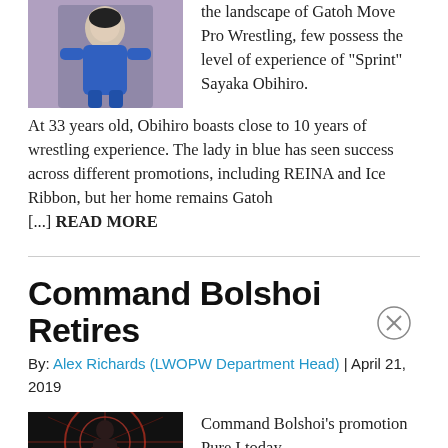[Figure (photo): A female wrestler in blue costume]
the landscape of Gatoh Move Pro Wrestling, few possess the level of experience of “Sprint” Sayaka Obihiro. At 33 years old, Obihiro boasts close to 10 years of wrestling experience. The lady in blue has seen success across different promotions, including REINA and Ice Ribbon, but her home remains Gatoh [...] READ MORE
Command Bolshoi Retires
By: Alex Richards (LWOPW Department Head) | April 21, 2019
[Figure (photo): Command Bolshoi promotional image with red light effects]
Command Bolshoi’s promotion Pure.I today